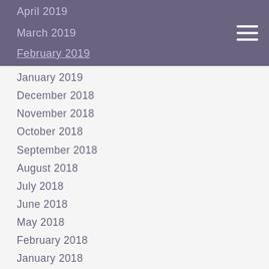April 2019 (partial/cut off at top)
March 2019
February 2019
January 2019
December 2018
November 2018
October 2018
September 2018
August 2018
July 2018
June 2018
May 2018
February 2018
January 2018
December 2017
November 2017
August 2017
July 2017
June 2017
May 2017
April 2017
March 2017 (partially visible)